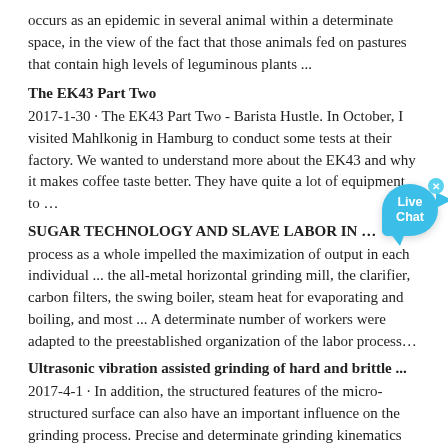occurs as an epidemic in several animal within a determinate space, in the view of the fact that those animals fed on pastures that contain high levels of leguminous plants ...
The EK43 Part Two
2017-1-30 · The EK43 Part Two - Barista Hustle. In October, I visited Mahlkonig in Hamburg to conduct some tests at their factory. We wanted to understand more about the EK43 and why it makes coffee taste better. They have quite a lot of equipment to …
SUGAR TECHNOLOGY AND SLAVE LABOR IN …
process as a whole impelled the maximization of output in each individual ... the all-metal horizontal grinding mill, the clarifier, carbon filters, the swing boiler, steam heat for evaporating and boiling, and most ... A determinate number of workers were adapted to the preestablished organization of the labor process…
Ultrasonic vibration assisted grinding of hard and brittle ...
2017-4-1 · In addition, the structured features of the micro-structured surface can also have an important influence on the grinding process. Precise and determinate grinding kinematics are necessary to grind micro-structured surfaces to generate the required structured profile accurately. Therefore, one-dimensional ultrasonic vibration along linear micro ...